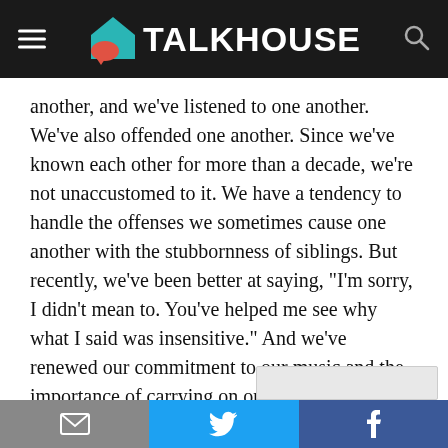TALKHOUSE
another, and we’ve listened to one another. We’ve also offended one another. Since we’ve known each other for more than a decade, we’re not unaccustomed to it. We have a tendency to handle the offenses we sometimes cause one another with the stubbornness of siblings. But recently, we’ve been better at saying, “I’m sorry, I didn’t mean to. You’ve helped me see why what I said was insensitive.” And we’ve renewed our commitment to our music and the importance of carrying on our creative
Privacy & Cookies: This site uses cookies. By continuing to use this website, you agree to their use.
To find out more, including how to control cookies, see here: Cookie Policy